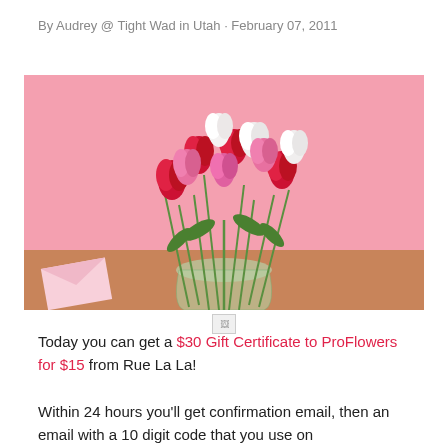By Audrey @ Tight Wad in Utah · February 07, 2011
[Figure (photo): A glass vase filled with red, pink, and white tulips on a pink background, with a pink envelope on the table beside it. Below the photo is a small broken image icon.]
Today you can get a $30 Gift Certificate to ProFlowers for $15 from Rue La La!

Within 24 hours you'll get confirmation email, then an email with a 10 digit code that you use on ProFlowers.com